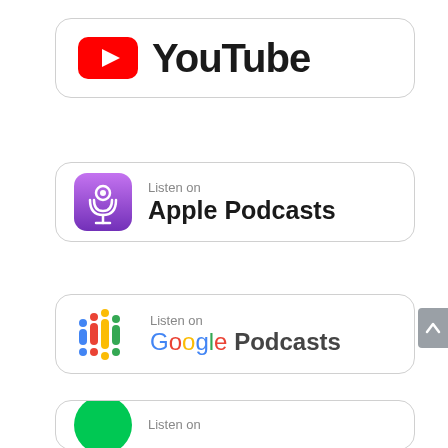[Figure (logo): YouTube badge/button with YouTube logo (red play button icon) and YouTube text in black bold font, rounded rectangle border]
[Figure (logo): Apple Podcasts badge with purple podcast icon and 'Listen on Apple Podcasts' text]
[Figure (logo): Google Podcasts badge with colorful bars icon and 'Listen on Google Podcasts' text]
[Figure (logo): Partially visible fourth badge with green circle icon and 'Listen on' text, cut off at bottom]